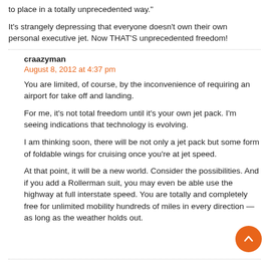to place in a totally unprecedented way."
It's strangely depressing that everyone doesn't own their own personal executive jet. Now THAT'S unprecedented freedom!
craazyman
August 8, 2012 at 4:37 pm
You are limited, of course, by the inconvenience of requiring an airport for take off and landing.
For me, it's not total freedom until it's your own jet pack. I'm seeing indications that technology is evolving.
I am thinking soon, there will be not only a jet pack but some form of foldable wings for cruising once you're at jet speed.
At that point, it will be a new world. Consider the possibilities. And if you add a Rollerman suit, you may even be able use the highway at full interstate speed. You are totally and completely free for unlimited mobility hundreds of miles in every direction — as long as the weather holds out.